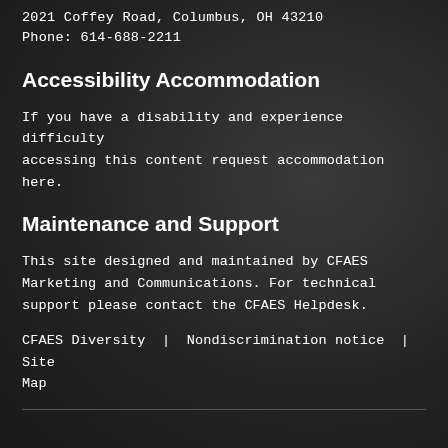2021 Coffey Road, Columbus, OH 43210
Phone: 614-688-2211
Accessibility Accommodation
If you have a disability and experience difficulty accessing this content request accommodation here.
Maintenance and Support
This site designed and maintained by CFAES Marketing and Communications. For technical support please contact the CFAES Helpdesk.
CFAES Diversity | Nondiscrimination notice | Site Map